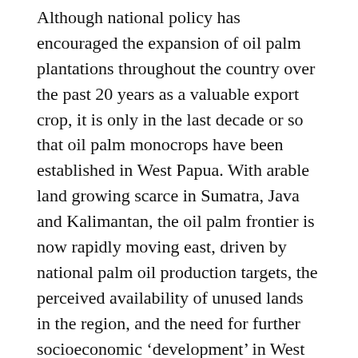Although national policy has encouraged the expansion of oil palm plantations throughout the country over the past 20 years as a valuable export crop, it is only in the last decade or so that oil palm monocrops have been established in West Papua. With arable land growing scarce in Sumatra, Java and Kalimantan, the oil palm frontier is now rapidly moving east, driven by national palm oil production targets, the perceived availability of unused lands in the region, and the need for further socioeconomic ‘development’ in West Papua.
Many Marind in rural Merauke report that oil palm projects are being designed and implemented without their free, prior and informed consent or ongoing participation. This has often resulted in conflict between communities and corporations and conflict within communities over matters of land rights, employment opportunities and compensation payments. Most significantly, the conversion of forest